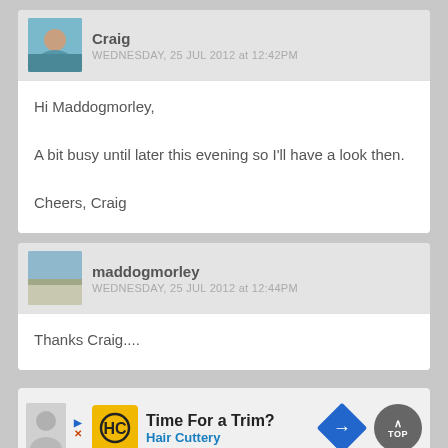[Figure (other): Comment block from user Craig with avatar photo, username, timestamp, and message body]
Craig
WEDNESDAY, 25 JUL 2012 at 12:42PM
Hi Maddogmorley,

A bit busy until later this evening so I'll have a look then.

Cheers, Craig
[Figure (other): Comment block from user maddogmorley with avatar photo, username, timestamp, and message body]
maddogmorley
WEDNESDAY, 25 JUL 2012 at 12:44PM
Thanks Craig....
[Figure (other): Advertisement banner for Hair Cuttery with logo, text 'Time For a Trim?', and navigation arrow]
Time For a Trim?
Hair Cuttery